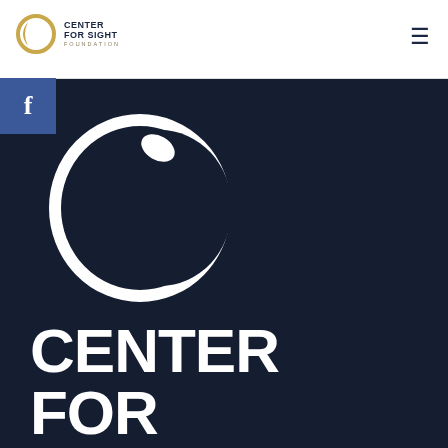[Figure (logo): Center for Sight Foundation nav logo with crescent circle icon and text]
[Figure (logo): Facebook 'f' button icon in blue square]
[Figure (logo): Large Center for Sight Foundation logo on dark navy background with white crescent circle graphic and bold white text reading CENTER / FOR SIGHT / FOUNDATION]